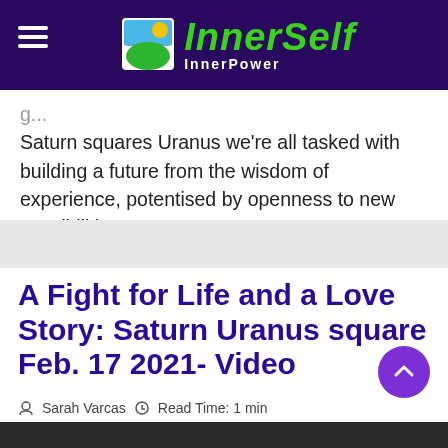InnerSelf InnerPower
Saturn squares Uranus we're all tasked with building a future from the wisdom of experience, potentised by openness to new possibilities.
A Fight for Life and a Love Story: Saturn Uranus square Feb. 17 2021- Video
Sarah Varcas  Read Time: 1 min